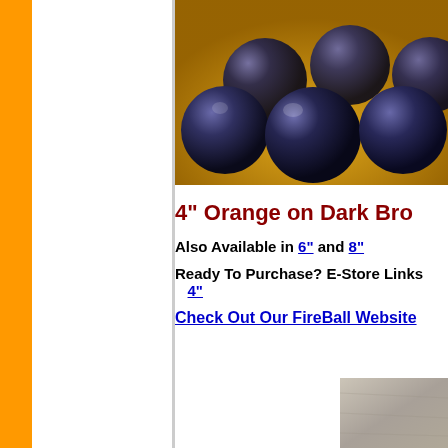[Figure (photo): Dark brown/black glossy spherical fireballs or glass balls piled on a golden/yellow background]
4" Orange on Dark Bro...
Also Available in 6" and 8"
Ready To Purchase? E-Store Links   4"
Check Out Our FireBall Website
[Figure (photo): Partial image of a textured surface, appears to be a stone or fabric background]